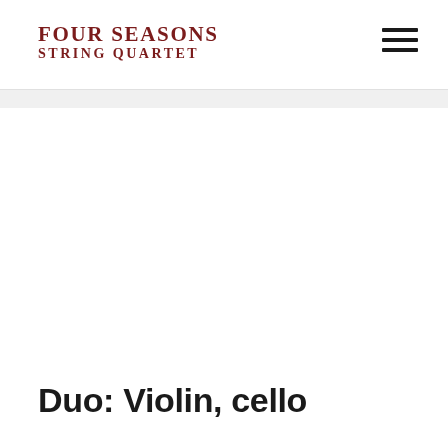FOUR SEASONS STRING QUARTET
Duo: Violin, cello